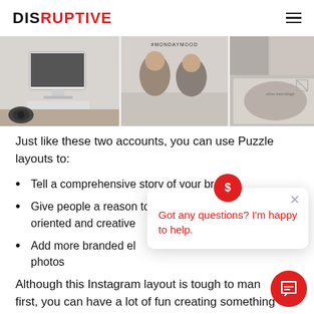DISRUPTIVE
[Figure (photo): Instagram grid screenshot showing three photos: a desk with iMac, two women with '#MONDAYMOOD' text overlay, and a third partial lifestyle image with 'slow mornings' text]
Just like these two accounts, you can use Puzzle layouts to:
Tell a comprehensive story of your brand
Give people a reason to follow you — it feels detail-oriented and creative
Add more branded elements to your usually unbranded photos
Although this Instagram layout is tough to manage at first, you can have a lot of fun creating something truly